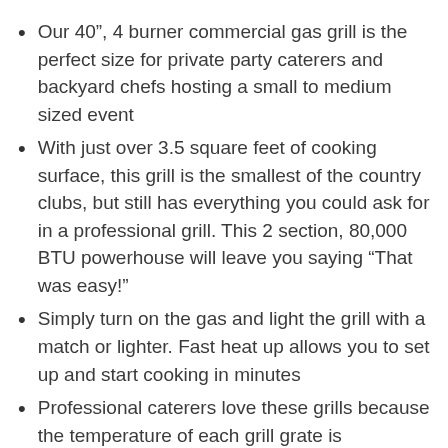Our 40”, 4 burner commercial gas grill is the perfect size for private party caterers and backyard chefs hosting a small to medium sized event
With just over 3.5 square feet of cooking surface, this grill is the smallest of the country clubs, but still has everything you could ask for in a professional grill. This 2 section, 80,000 BTU powerhouse will leave you saying “That was easy!”
Simply turn on the gas and light the grill with a match or lighter. Fast heat up allows you to set up and start cooking in minutes
Professional caterers love these grills because the temperature of each grill grate is